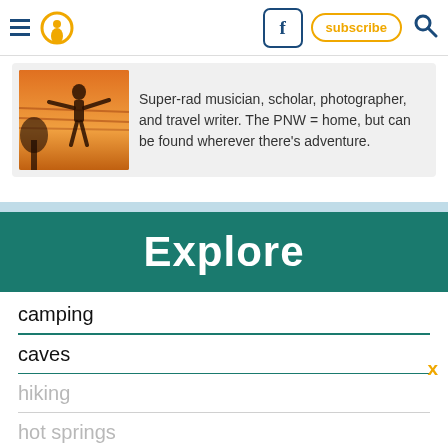Navigation bar with hamburger menu, location pin icon, Facebook icon, subscribe button, search icon
[Figure (photo): Person silhouetted against a warm sunset, standing on a railing or bridge, arms outstretched]
Super-rad musician, scholar, photographer, and travel writer. The PNW = home, but can be found wherever there's adventure.
Explore
camping
caves
hiking
hot springs